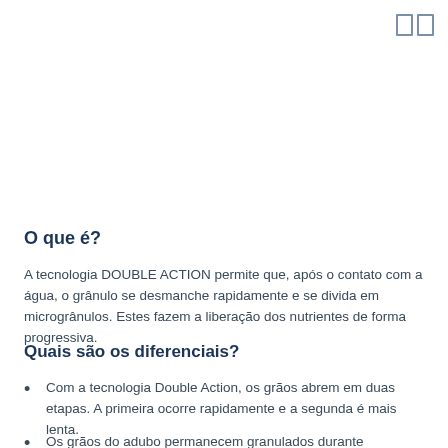[Figure (other): Two small column/panel icons in top right corner]
O que é?
A tecnologia DOUBLE ACTION permite que, após o contato com a água, o grânulo se desmanche rapidamente e se divida em microgrânulos. Estes fazem a liberação dos nutrientes de forma progressiva.
Quais são os diferenciais?
Com a tecnologia Double Action, os grãos abrem em duas etapas. A primeira ocorre rapidamente e a segunda é mais lenta.
Os grãos do adubo permanecem granulados durante